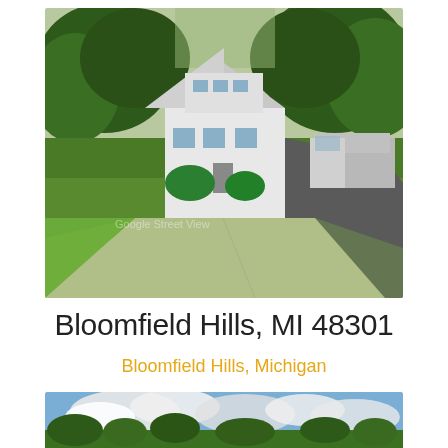[Figure (photo): Street view photo of a white house in Bloomfield Hills, MI surrounded by large green trees, with a driveway and parked truck visible]
Bloomfield Hills, MI 48301
Bloomfield Hills, Michigan
[Figure (photo): Partial photo showing blue sky with clouds and green trees at the bottom edge]